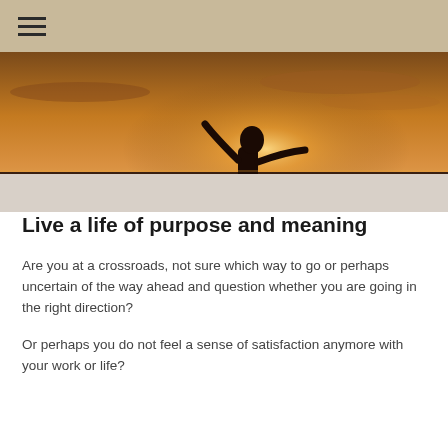☰
[Figure (photo): Silhouette of a person with arms outstretched against a warm golden sunset sky]
Live a life of purpose and meaning
Are you at a crossroads, not sure which way to go or perhaps uncertain of the way ahead and question whether you are going in the right direction?
Or perhaps you do not feel a sense of satisfaction anymore with your work or life?